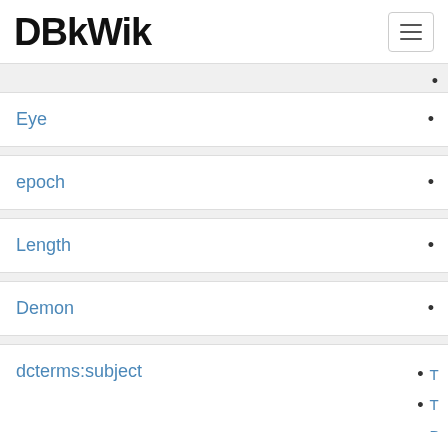DBkWik
Eye
epoch
Length
Demon
dcterms:subject